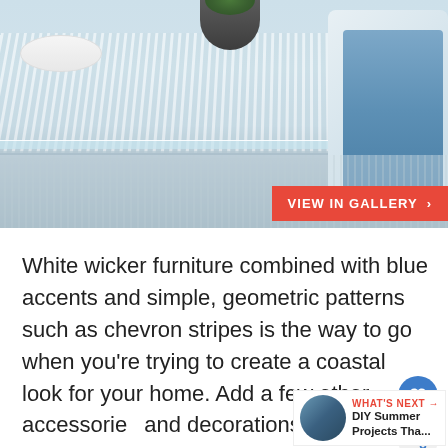[Figure (photo): Outdoor patio scene with white wicker furniture, glass-top coffee table, blue chair cushion, decorative plant in dark bowl, white plate, and wooden frame elements on a deck]
VIEW IN GALLERY ›
White wicker furniture combined with blue accents and simple, geometric patterns such as chevron stripes is the way to go when you're trying to create a coastal look for your home. Add a few other accessories and decorations that can sustain this look {found on highgatehouse}.